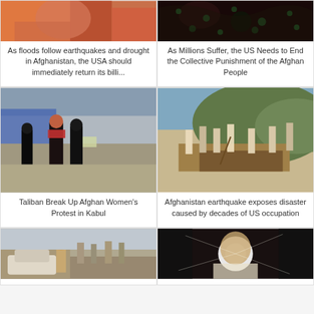[Figure (photo): Close-up photo of person in orange/red clothing, Afghanistan floods]
As floods follow earthquakes and drought in Afghanistan, the USA should immediately return its billi...
[Figure (photo): Dark photo with green pattern, Afghan people suffering]
As Millions Suffer, the US Needs to End the Collective Punishment of the Afghan People
[Figure (photo): Women protesters in black clothing in Kabul street, Taliban breaking up protest]
Taliban Break Up Afghan Women's Protest in Kabul
[Figure (photo): People digging in dirt, Afghanistan earthquake aftermath]
Afghanistan earthquake exposes disaster caused by decades of US occupation
[Figure (photo): People near car in rubble, Afghanistan disaster scene]
[Figure (photo): Man with bright light, distressed expression]